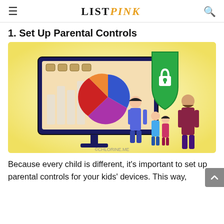LISTPINK
1. Set Up Parental Controls
[Figure (illustration): Illustration of a family with parents and children interacting with a large monitor showing charts and icons, with a green security shield/padlock overlay. Watermark: ©CHLORINE.ME]
Because every child is different, it's important to set up parental controls for your kids' devices. This way,